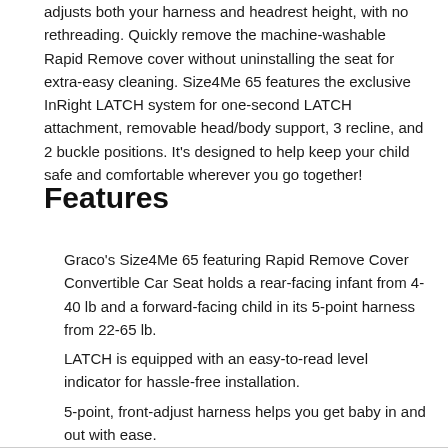adjusts both your harness and headrest height, with no rethreading. Quickly remove the machine-washable Rapid Remove cover without uninstalling the seat for extra-easy cleaning. Size4Me 65 features the exclusive InRight LATCH system for one-second LATCH attachment, removable head/body support, 3 recline, and 2 buckle positions. It's designed to help keep your child safe and comfortable wherever you go together!
Features
Graco's Size4Me 65 featuring Rapid Remove Cover Convertible Car Seat holds a rear-facing infant from 4-40 lb and a forward-facing child in its 5-point harness from 22-65 lb.
LATCH is equipped with an easy-to-read level indicator for hassle-free installation.
5-point, front-adjust harness helps you get baby in and out with ease.